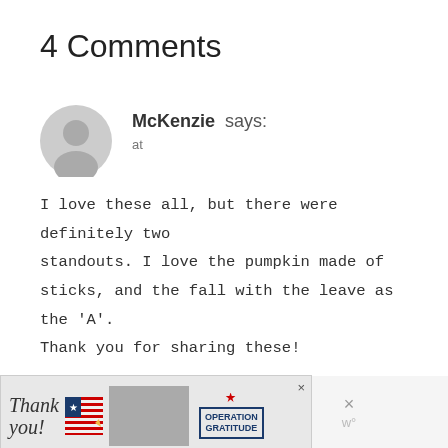4 Comments
McKenzie says:
at
I love these all, but there were definitely two standouts. I love the pumpkin made of sticks, and the fall with the leave as the ‘A’. Thank you for sharing these!
Reply
[Figure (other): Advertisement banner showing 'Thank you!' text with American flag graphic, photo of masked healthcare workers, Operation Gratitude logo, and close/dismiss icons]